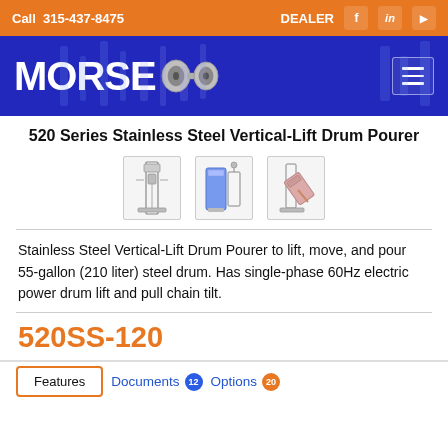Call  315-437-8475   DEALER
[Figure (logo): Morse Manufacturing logo with gear/drum imagery on blue background]
520 Series Stainless Steel Vertical-Lift Drum Pourer
[Figure (photo): Three thumbnail images of the 520SS stainless steel vertical-lift drum pourer from different angles]
Stainless Steel Vertical-Lift Drum Pourer to lift, move, and pour 55-gallon (210 liter) steel drum. Has single-phase 60Hz electric power drum lift and pull chain tilt.
520SS-120
Features   Documents 12   Options 20